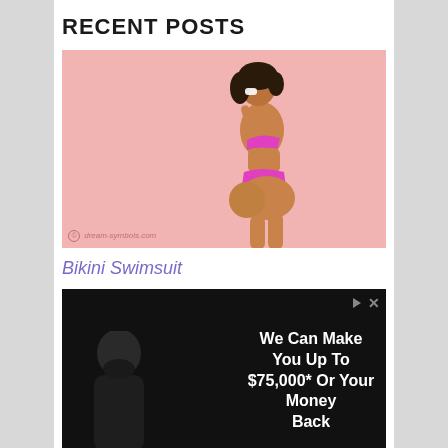RECENT POSTS
[Figure (photo): Woman in pink bikini swimsuit posing against a pink background, wearing white cat-eye sunglasses, viewed from behind/side. Watermark: © dream-symbols.com]
Bikini Swimsuit
[Figure (screenshot): Dark advertisement video with text: We Can Make You Up To $75,000* Or Your Money Back. Shows a man with beard on left side. Has play and close controls.]